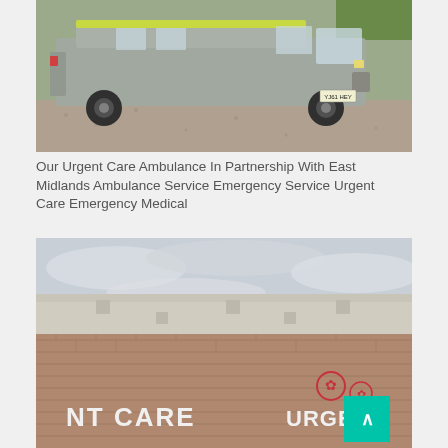[Figure (photo): A grey Peugeot Boxer van (urgent care ambulance) parked on a gravel surface with grass in the background. The vehicle has a yellow/green roof marking and a license plate visible at the front.]
Our Urgent Care Ambulance In Partnership With East Midlands Ambulance Service Emergency Service Urgent Care Emergency Medical
[Figure (photo): Exterior of a brick-built urgent care centre building. The building has a wide overhanging flat roof canopy. A sign on the building reads 'URGENT CARE' with a logo on the right side. The sky is overcast. A teal/turquoise scroll-to-top button overlays the bottom-right corner.]